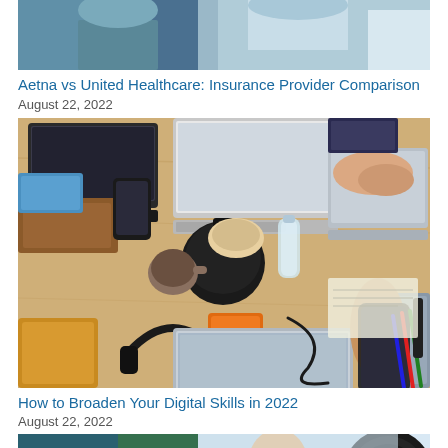[Figure (photo): Top portion of a healthcare/medical workers photo, partially visible at top of page]
Aetna vs United Healthcare: Insurance Provider Comparison
August 22, 2022
[Figure (photo): Overhead view of people working at a wooden table with multiple laptops, phones, notebooks, headphones, and office supplies]
How to Broaden Your Digital Skills in 2022
August 22, 2022
[Figure (photo): Bottom portion of a photo showing people with camera/podcast equipment, partially visible]